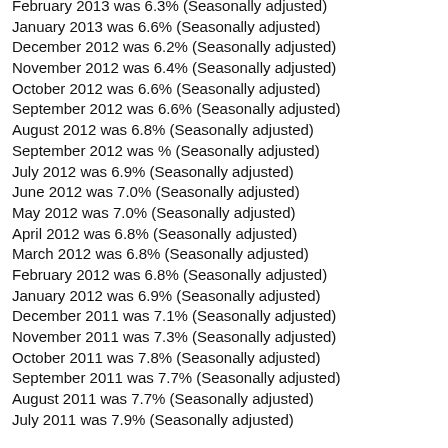February 2013 was 6.3% (Seasonally adjusted)
January 2013 was 6.6% (Seasonally adjusted)
December 2012 was 6.2% (Seasonally adjusted)
November 2012 was 6.4% (Seasonally adjusted)
October 2012 was 6.6% (Seasonally adjusted)
September 2012 was 6.6% (Seasonally adjusted)
August 2012 was 6.8% (Seasonally adjusted)
September 2012 was % (Seasonally adjusted)
July 2012 was 6.9% (Seasonally adjusted)
June 2012 was 7.0% (Seasonally adjusted)
May 2012 was 7.0% (Seasonally adjusted)
April 2012 was 6.8% (Seasonally adjusted)
March 2012 was 6.8% (Seasonally adjusted)
February 2012 was 6.8% (Seasonally adjusted)
January 2012 was 6.9% (Seasonally adjusted)
December 2011 was 7.1% (Seasonally adjusted)
November 2011 was 7.3% (Seasonally adjusted)
October 2011 was 7.8% (Seasonally adjusted)
September 2011 was 7.7% (Seasonally adjusted)
August 2011 was 7.7% (Seasonally adjusted)
July 2011 was 7.9% (Seasonally adjusted)